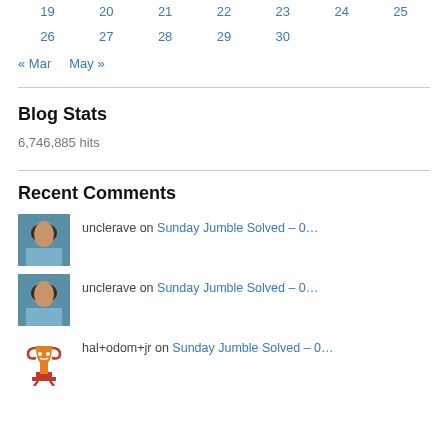| 19 | 20 | 21 | 22 | 23 | 24 | 25 |
| 26 | 27 | 28 | 29 | 30 |  |  |
« Mar    May »
Blog Stats
6,746,885 hits
Recent Comments
unclerave on Sunday Jumble Solved – 0…
unclerave on Sunday Jumble Solved – 0…
hal+odom+jr on Sunday Jumble Solved – 0…